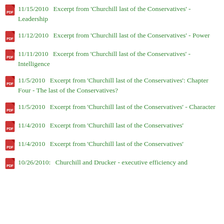11/15/2010   Excerpt from 'Churchill last of the Conservatives' - Leadership
11/12/2010   Excerpt from 'Churchill last of the Conservatives' - Power
11/11/2010   Excerpt from 'Churchill last of the Conservatives' - Intelligence
11/5/2010   Excerpt from 'Churchill last of the Conservatives': Chapter Four - The last of the Conservatives?
11/5/2010   Excerpt from 'Churchill last of the Conservatives' - Character
11/4/2010   Excerpt from 'Churchill last of the Conservatives'
11/4/2010   Excerpt from 'Churchill last of the Conservatives'
10/26/2010: Churchill and Drucker - executive efficiency and